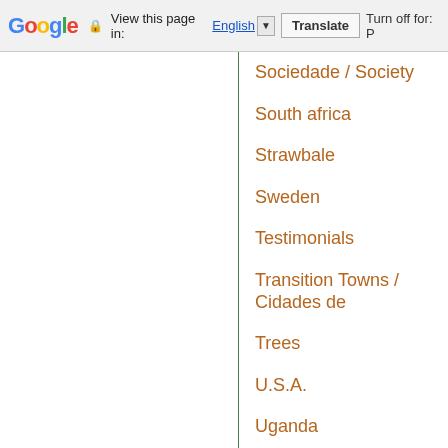Google  View this page in: English  Translate  Turn off for: P
Sociedade / Society
South africa
Strawbale
Sweden
Testimonials
Transition Towns / Cidades de
Trees
U.S.A.
Uganda
Urbana
Vandana Shiva